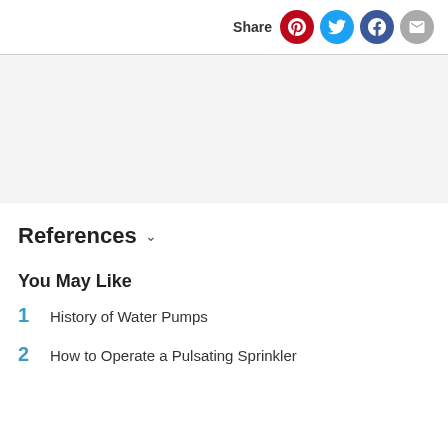Share
[Figure (other): Gray advertisement or image placeholder box]
References
You May Like
1  History of Water Pumps
2  How to Operate a Pulsating Sprinkler